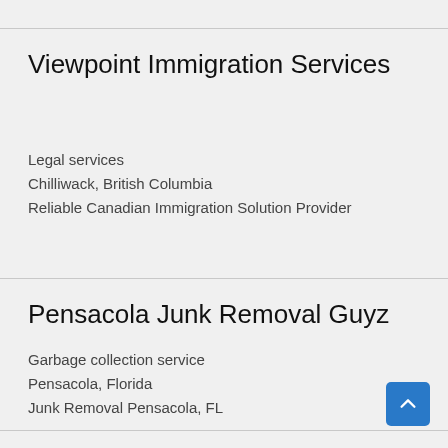Viewpoint Immigration Services
Legal services
Chilliwack, British Columbia
Reliable Canadian Immigration Solution Provider
Pensacola Junk Removal Guyz
Garbage collection service
Pensacola, Florida
Junk Removal Pensacola, FL